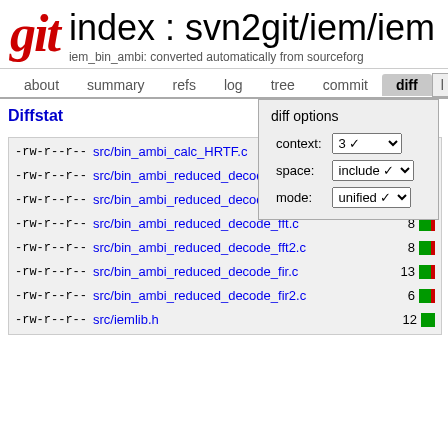git  index : svn2git/iem/iem_bin_ambi: converted automatically from sourceforge
about  summary  refs  log  tree  commit  diff
Diffstat
diff options
context: 3
space: include
mode: unified
| permissions | file | count | bar |
| --- | --- | --- | --- |
| -rw-r--r-- | src/bin_ambi_calc_HRTF.c | 8 |  |
| -rw-r--r-- | src/bin_ambi_reduced_decode.c | 8 |  |
| -rw-r--r-- | src/bin_ambi_reduced_decode2.c | 8 |  |
| -rw-r--r-- | src/bin_ambi_reduced_decode_fft.c | 8 |  |
| -rw-r--r-- | src/bin_ambi_reduced_decode_fft2.c | 8 |  |
| -rw-r--r-- | src/bin_ambi_reduced_decode_fir.c | 13 |  |
| -rw-r--r-- | src/bin_ambi_reduced_decode_fir2.c | 6 |  |
| -rw-r--r-- | src/iemlib.h | 12 |  |